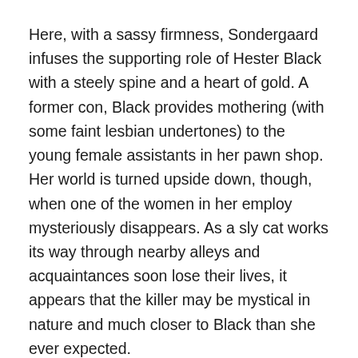Here, with a sassy firmness, Sondergaard infuses the supporting role of Hester Black with a steely spine and a heart of gold. A former con, Black provides mothering (with some faint lesbian undertones) to the young female assistants in her pawn shop. Her world is turned upside down, though, when one of the women in her employ mysteriously disappears. As a sly cat works its way through nearby alleys and acquaintances soon lose their lives, it appears that the killer may be mystical in nature and much closer to Black than she ever expected.
Harrington works with an astute sense of shadow, here. (He would employ the same techniques in the sillier, much beloved Devil Dog: Hound of Hell in 1978, as well.) The mood he generates does much to elevate the simple plotline (which makes the true killer's identity fairly obvious, perhaps in the same tradition.)